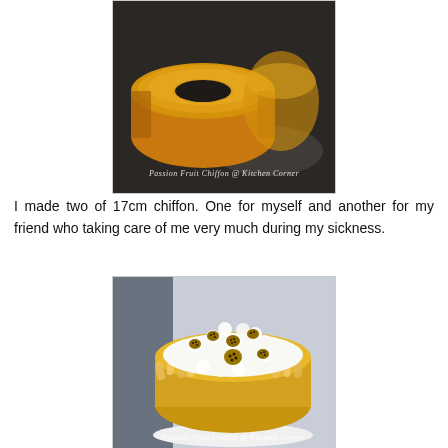[Figure (photo): A golden-yellow chiffon cake ring (plain, undecorated) photographed close-up on a dark background with another chiffon cake visible in the background. Watermark reads: Passion Fruit Chiffon @ Kitchen Corner]
I made two of 17cm chiffon. One for myself and another for my friend who taking care of me very much during my sickness.
[Figure (photo): A decorated passion fruit chiffon cake covered with whipped cream swirls and passion fruit halves on top, almond slices pressed around the sides, on a white cake board. Watermark reads: Passion Fruit Chiffon @ Kitchen Corner]